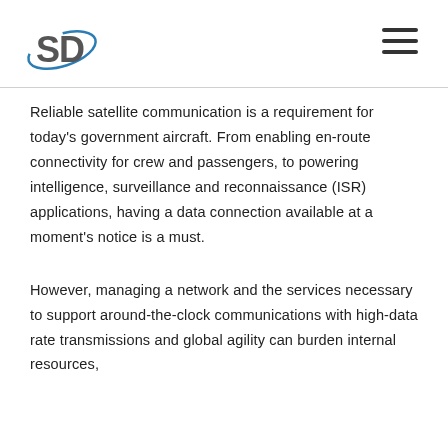SD logo and navigation menu
Reliable satellite communication is a requirement for today's government aircraft. From enabling en-route connectivity for crew and passengers, to powering intelligence, surveillance and reconnaissance (ISR) applications, having a data connection available at a moment's notice is a must.
However, managing a network and the services necessary to support around-the-clock communications with high-data rate transmissions and global agility can burden internal resources,